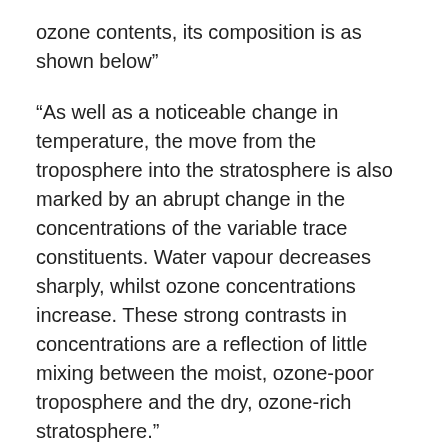ozone contents, its composition is as shown below”
“As well as a noticeable change in temperature, the move from the troposphere into the stratosphere is also marked by an abrupt change in the concentrations of the variable trace constituents. Water vapour decreases sharply, whilst ozone concentrations increase. These strong contrasts in concentrations are a reflection of little mixing between the moist, ozone-poor troposphere and the dry, ozone-rich stratosphere.”
This information explains how the tropopause can remain colder than the air above and below.  It also